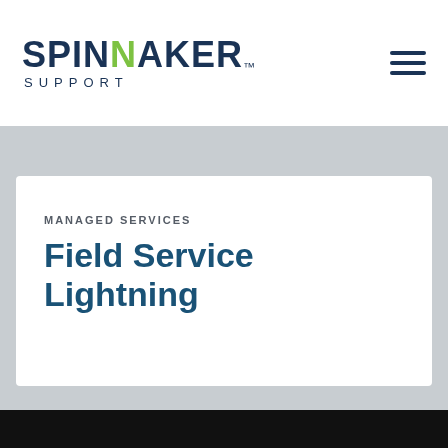[Figure (logo): Spinnaker Support logo with dark blue text and green N]
MANAGED SERVICES
Field Service Lightning